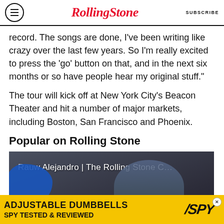Rolling Stone  SUBSCRIBE
record. The songs are done, I've been writing like crazy over the last few years. So I'm really excited to press the 'go' button on that, and in the next six months or so have people hear my original stuff."
The tour will kick off at New York City's Beacon Theater and hit a number of major markets, including Boston, San Francisco and Phoenix.
Popular on Rolling Stone
[Figure (screenshot): Video thumbnail showing Rauw Alejandro with text overlay: 'Rauw Alejandro | The Rolling Stone C...' and a blue boxing glove visible, dark background with a male figure]
[Figure (infographic): Advertisement banner with yellow background: 'ADJUSTABLE DUMBBELLS SPY TESTED & REVIEWED' with SPY logo in italic]